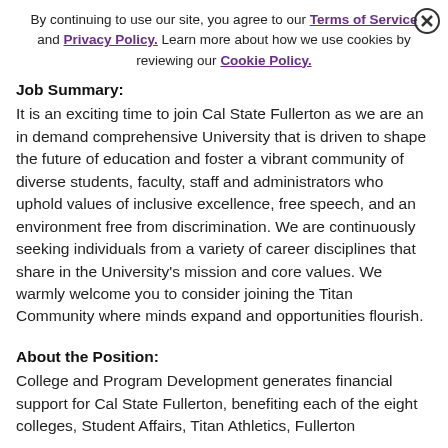By continuing to use our site, you agree to our Terms of Service and Privacy Policy. Learn more about how we use cookies by reviewing our Cookie Policy.
Job Summary:
It is an exciting time to join Cal State Fullerton as we are an in demand comprehensive University that is driven to shape the future of education and foster a vibrant community of diverse students, faculty, staff and administrators who uphold values of inclusive excellence, free speech, and an environment free from discrimination. We are continuously seeking individuals from a variety of career disciplines that share in the University's mission and core values. We warmly welcome you to consider joining the Titan Community where minds expand and opportunities flourish.
About the Position:
College and Program Development generates financial support for Cal State Fullerton, benefiting each of the eight colleges, Student Affairs, Titan Athletics, Fullerton